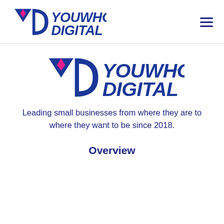YouWho Digital (logo header with hamburger menu)
[Figure (logo): YouWho Digital logo — large blue YD monogram with pink diamond accent, text YOUWHO DIGITAL in bold blue italic]
Leading small businesses from where they are to where they want to be since 2018.
Overview